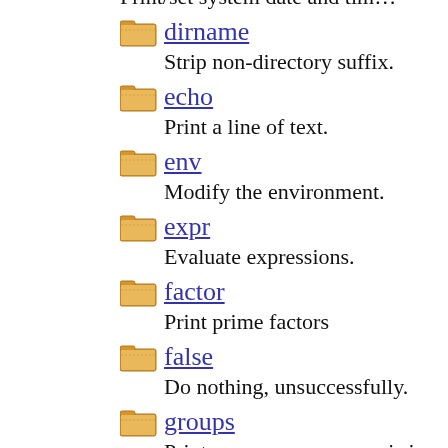Print/set system date and time.
dirname - Strip non-directory suffix.
echo - Print a line of text.
env - Modify the environment.
expr - Evaluate expressions.
factor - Print prime factors
false - Do nothing, unsuccessfully.
groups - Print group names a user is in.
hostid - Print numeric host identifier.
hostname - Print or set system name.
id